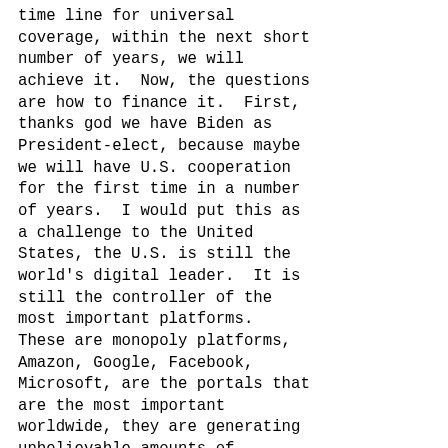time line for universal coverage, within the next short number of years, we will achieve it.  Now, the questions are how to finance it.  First, thanks god we have Biden as President-elect, because maybe we will have U.S. cooperation for the first time in a number of years.  I would put this as a challenge to the United States, the U.S. is still the world's digital leader.  It is still the controller of the most important platforms. These are monopoly platforms, Amazon, Google, Facebook, Microsoft, are the portals that are the most important worldwide, they are generating unbelievable amounts of monopoly profits and wealth. The United States has a responsibility that it of